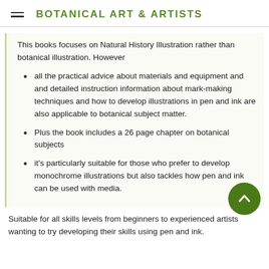BOTANICAL ART & ARTISTS
This books focuses on Natural History Illustration rather than botanical illustration. However
all the practical advice about materials and equipment and and detailed instruction information about mark-making techniques and how to develop illustrations in pen and ink are also applicable to botanical subject matter.
Plus the book includes a 26 page chapter on botanical subjects
it's particularly suitable for those who prefer to develop monochrome illustrations but also tackles how pen and ink can be used with media.
Suitable for all skills levels from beginners to experienced artists wanting to try developing their skills using pen and ink.